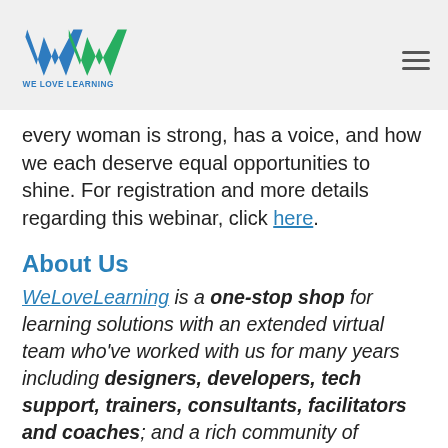WE LOVE LEARNING
every woman is strong, has a voice, and how we each deserve equal opportunities to shine. For registration and more details regarding this webinar, click here.
About Us
WeLoveLearning is a one-stop shop for learning solutions with an extended virtual team who've worked with us for many years including designers, developers, tech support, trainers, consultants, facilitators and coaches; and a rich community of Subject Matter Experts